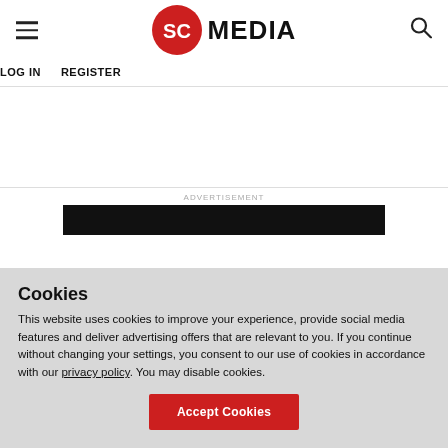[Figure (logo): SC Media logo with red circle containing white SC letters and black MEDIA text]
LOG IN   REGISTER
ADVERTISEMENT
Cookies
This website uses cookies to improve your experience, provide social media features and deliver advertising offers that are relevant to you. If you continue without changing your settings, you consent to our use of cookies in accordance with our privacy policy. You may disable cookies.
Accept Cookies